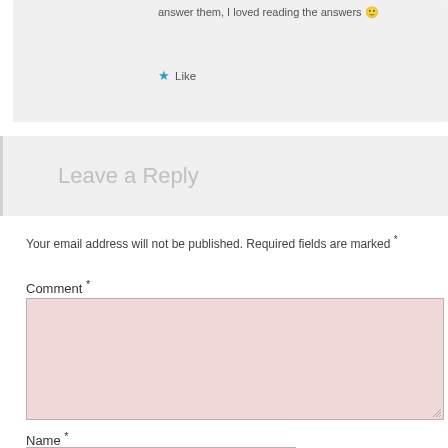answer them, I loved reading the answers 🙂
★ Like
Leave a Reply
Your email address will not be published. Required fields are marked *
Comment *
Name *